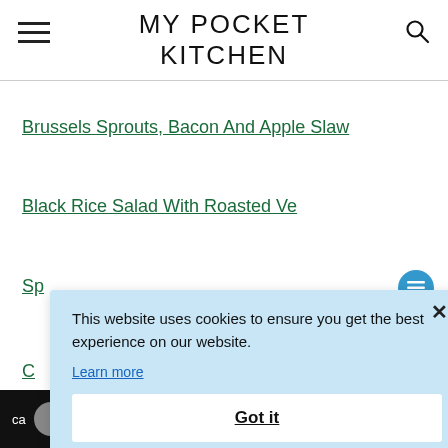MY POCKET KITCHEN
Brussels Sprouts, Bacon And Apple Slaw
Black Rice Salad With Roasted Ve...
Sp...
C...
This website uses cookies to ensure you get the best experience on our website.
Learn more
Got it
ca... milk